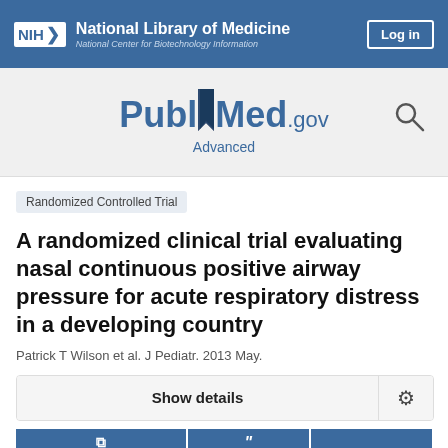[Figure (logo): NIH National Library of Medicine / National Center for Biotechnology Information header bar with Log in button]
[Figure (logo): PubMed.gov logo with search icon and Advanced link on gray background]
Randomized Controlled Trial
A randomized clinical trial evaluating nasal continuous positive airway pressure for acute respiratory distress in a developing country
Patrick T Wilson et al. J Pediatr. 2013 May.
Show details
Full text links
Cite